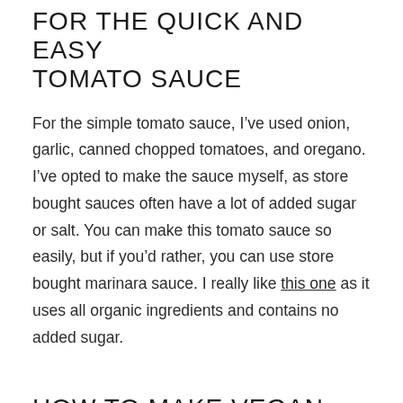FOR THE QUICK AND EASY TOMATO SAUCE
For the simple tomato sauce, I’ve used onion, garlic, canned chopped tomatoes, and oregano. I’ve opted to make the sauce myself, as store bought sauces often have a lot of added sugar or salt. You can make this tomato sauce so easily, but if you’d rather, you can use store bought marinara sauce. I really like this one as it uses all organic ingredients and contains no added sugar.
HOW TO MAKE VEGAN CANNELLONI